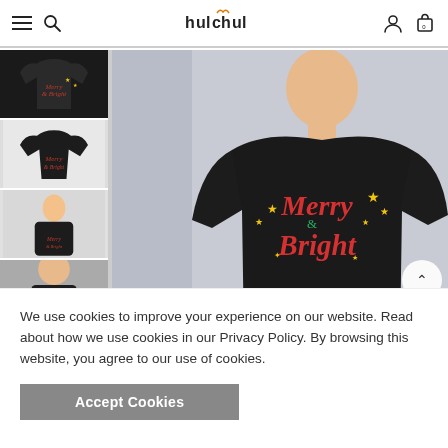hulchul — navigation header with hamburger menu, search, account, and cart icons
[Figure (photo): E-commerce product page showing a black sweatshirt with 'Merry & Bright' text and stars design, shown on a male model and in flat lay. Thumbnail images on the left side show multiple views.]
We use cookies to improve your experience on our website. Read about how we use cookies in our Privacy Policy. By browsing this website, you agree to our use of cookies.
Accept Cookies